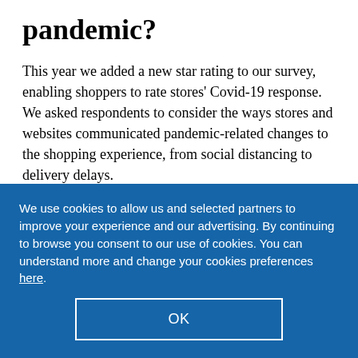pandemic?
This year we added a new star rating to our survey, enabling shoppers to rate stores' Covid-19 response. We asked respondents to consider the ways stores and websites communicated pandemic-related changes to the shopping experience, from social distancing to delivery delays.
No retailer in our survey achieved five stars for
We use cookies to allow us and selected partners to improve your experience and our advertising. By continuing to browse you consent to our use of cookies. You can understand more and change your cookies preferences here.
OK